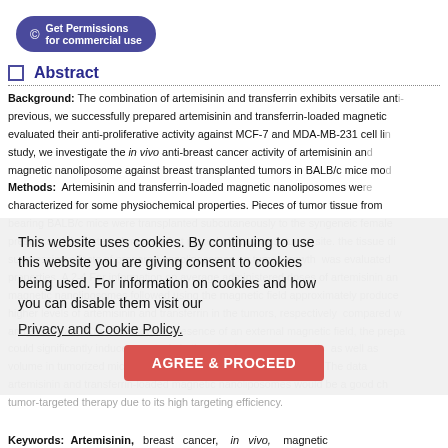[Figure (other): Get Permissions for commercial use button with copyright icon, purple rounded rectangle]
Abstract
Background: The combination of artemisinin and transferrin exhibits versatile anti-... previous, we successfully prepared artemisinin and transferrin-loaded magnetic ... evaluated their anti-proliferative activity against MCF-7 and MDA-MB-231 cell li... study, we investigate the in vivo anti-breast cancer activity of artemisinin an... magnetic nanoliposome against breast transplanted tumors in BALB/c mice mo... Methods: Artemisinin and transferrin-loaded magnetic nanoliposomes we... characterized for some physiochemical properties. Pieces of tumor tissue from ... bearing BALB/c mice were transplanted subcutaneously to the syngeneic female ... presence of the external magnet that placed at the breast tumor site. the tissue di... suppressing effects of prepared nanoliposomes on tumor growth was evalua... properties. A 2-4 For information on average administered doses of artemisinin an... magnetic nanoliposomes followed using the magnetic field approximately produ... higher levels of artemisinin and transferrin in the tumors, respectively compared w... and in the presence of an external magnetic field, the prepa... could significantly induce apoptosis in the mice breast cancer cells as well as ... volume in tumorized mice at 15 days after treatment. Conclusion: The data ... artemisinin and transferrin-loaded magnetic nanoliposomes would be a good ch... tumor-targeted therapy due to its high targeting efficiency.
This website uses cookies. By continuing to use this website you are giving consent to cookies being used. For information on cookies and how you can disable them visit our Privacy and Cookie Policy. AGREE & PROCEED
Keywords: Artemisinin, breast cancer, in vivo, magnetic